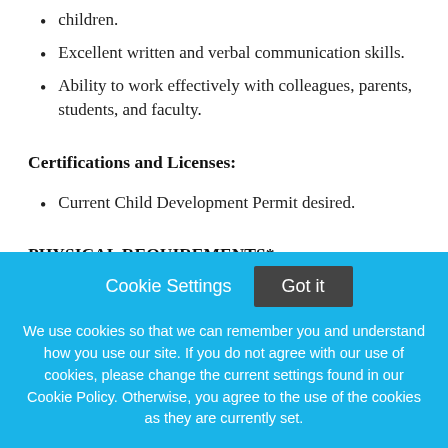children.
Excellent written and verbal communication skills.
Ability to work effectively with colleagues, parents, students, and faculty.
Certifications and Licenses:
Current Child Development Permit desired.
PHYSICAL REQUIREMENTS*:
Constantly twist/bend/stoop/squat;
Cookie Settings  Got it

We use cookies so that we can remember you and understand how you use our site. If you do not agree with our use of cookies, please change the current settings found in our Cookie Policy. Otherwise, you agree to the use of the cookies as they are currently set.